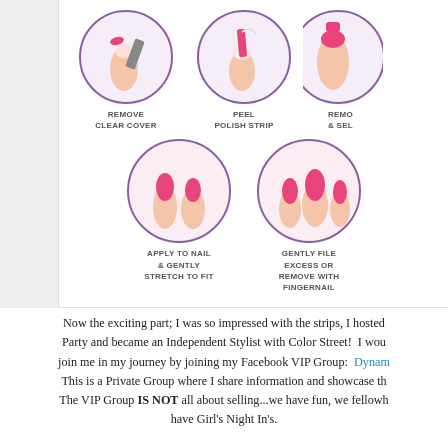[Figure (infographic): Step-by-step nail polish strip application instructions shown in circular images with labels: 1) REMOVE CLEAR COVER - hand filing nail, 2) PEEL POLISH STRIP - peeling pink strip, 3) REMOVE & SELECT (partially visible), 4) APPLY TO NAIL & GENTLY STRETCH TO FIT - pink strip on fingernail, 5) GENTLY FILE EXCESS OR REMOVE WITH FINGERNAIL - pink painted nails]
Now the exciting part; I was so impressed with the strips, I hosted a Party and became an Independent Stylist with Color Street!  I would join me in my journey by joining my Facebook VIP Group:  Dynam... This is a Private Group where I share information and showcase th... The VIP Group IS NOT all about selling...we have fun, we fellowh... have Girl's Night In's.